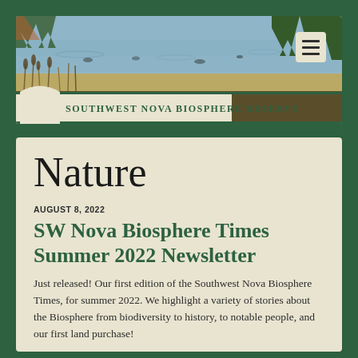[Figure (photo): Scenic wetland/lake photo with marsh grasses and trees in the background, used as the header banner for Southwest Nova Biosphere Reserve website]
Southwest Nova Biosphere Reserve
Nature
AUGUST 8, 2022
SW Nova Biosphere Times Summer 2022 Newsletter
Just released! Our first edition of the Southwest Nova Biosphere Times, for summer 2022. We highlight a variety of stories about the Biosphere from biodiversity to history, to notable people, and our first land purchase!